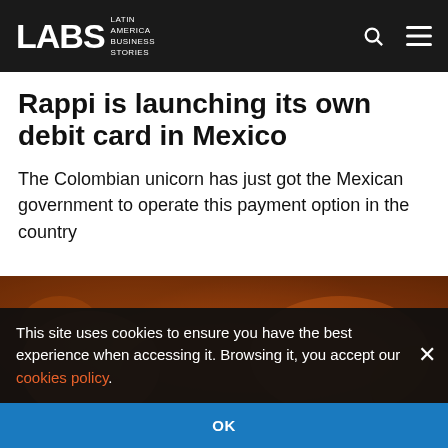LABS Latin America Business Stories
Rappi is launching its own debit card in Mexico
The Colombian unicorn has just got the Mexican government to operate this payment option in the country
[Figure (photo): Rappi delivery bags and couriers with orange equipment]
This site uses cookies to ensure you have the best experience when accessing it. Browsing it, you accept our cookies policy.
OK